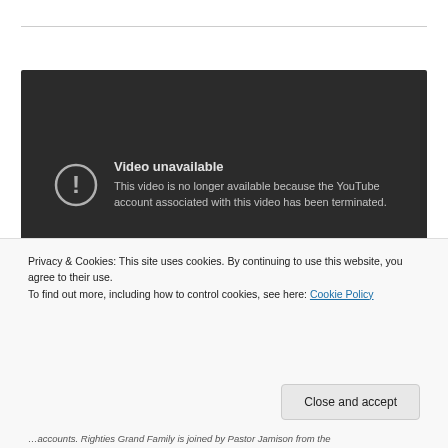[Figure (screenshot): Embedded YouTube video player showing 'Video unavailable' error message with alert icon. Text reads: 'Video unavailable. This video is no longer available because the YouTube account associated with this video has been terminated.']
Privacy & Cookies: This site uses cookies. By continuing to use this website, you agree to their use.
To find out more, including how to control cookies, see here: Cookie Policy
Close and accept